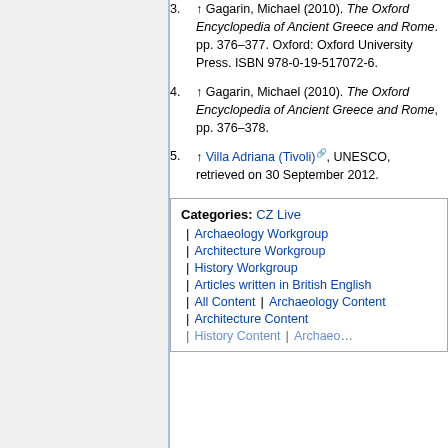3. ↑ Gagarin, Michael (2010). The Oxford Encyclopedia of Ancient Greece and Rome. pp. 376–377. Oxford: Oxford University Press. ISBN 978-0-19-517072-6.
4. ↑ Gagarin, Michael (2010). The Oxford Encyclopedia of Ancient Greece and Rome, pp. 376–378.
5. ↑ Villa Adriana (Tivoli), UNESCO, retrieved on 30 September 2012.
Categories: CZ Live | Archaeology Workgroup | Architecture Workgroup | History Workgroup | Articles written in British English | All Content | Archaeology Content | Architecture Content | History Content | Archaeology